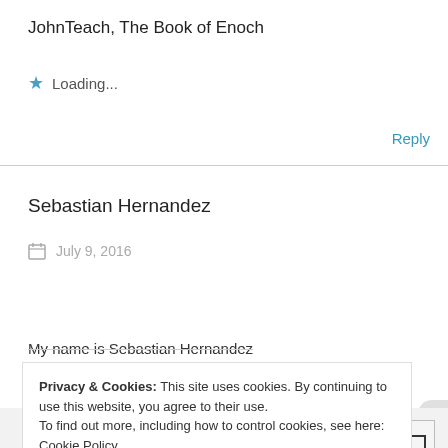JohnTeach, The Book of Enoch
★ Loading...
Reply
Sebastian Hernandez
July 9, 2016
My name is Sebastian Hernandez
Privacy & Cookies: This site uses cookies. By continuing to use this website, you agree to their use.
To find out more, including how to control cookies, see here: Cookie Policy
Close and accept
Advertisements
[Figure (screenshot): Bloomingdales advertisement banner showing logo and 'View Today's Top Deals!' text with 'SHOP NOW >' button]